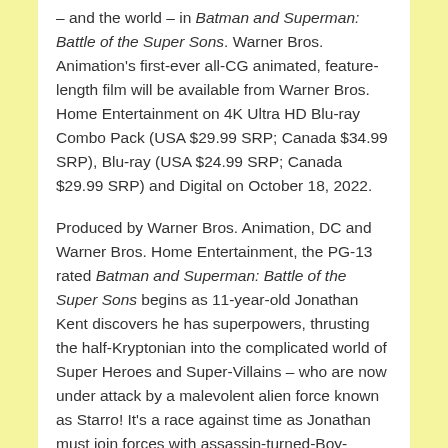– and the world – in Batman and Superman: Battle of the Super Sons. Warner Bros. Animation's first-ever all-CG animated, feature-length film will be available from Warner Bros. Home Entertainment on 4K Ultra HD Blu-ray Combo Pack (USA $29.99 SRP; Canada $34.99 SRP), Blu-ray (USA $24.99 SRP; Canada $29.99 SRP) and Digital on October 18, 2022.
Produced by Warner Bros. Animation, DC and Warner Bros. Home Entertainment, the PG-13 rated Batman and Superman: Battle of the Super Sons begins as 11-year-old Jonathan Kent discovers he has superpowers, thrusting the half-Kryptonian into the complicated world of Super Heroes and Super-Villains – who are now under attack by a malevolent alien force known as Starro! It's a race against time as Jonathan must join forces with assassin-turned-Boy-Wonder Damian Wayne to rescue their fathers (Superman & Batman) and save the planet by becoming the Super Sons they